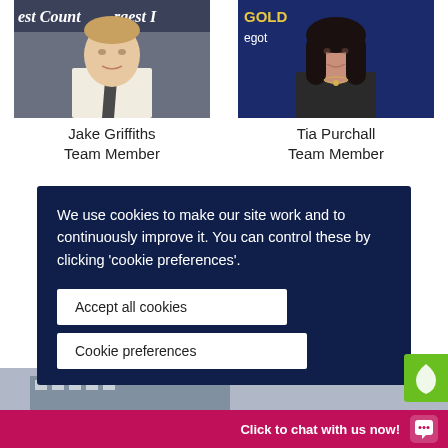[Figure (photo): Photo of Jake Griffiths, a young man in white shirt and dark tie, standing in front of a banner reading 'West Country...rgest In...']
Jake Griffiths
Team Member
[Figure (photo): Photo of Tia Purchall, a young woman with long dark hair wearing a black t-shirt and necklace, standing in front of a navy/gold banner reading 'GOLD negot...']
Tia Purchall
Team Member
We use cookies to make our site work and to continuously improve it. You can control these by clicking 'cookie preferences'.
Accept all cookies
Cookie preferences
Click to chat with us now!